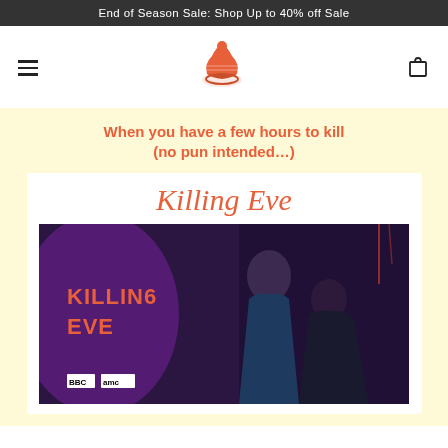End of Season Sale: Shop Up to 40% off Sale
[Figure (logo): Hamburger menu icon on the left, circular brand logo in the center (orange knit hat illustration), shopping bag icon on the right]
When you have a few hours to kill (no pun intended…)
[Figure (photo): Killing Eve TV show promotional image. Title 'Killing Eve' in large italic orange script above a dark purple-toned promotional photo showing two women back to back. BBC and AMC logos visible. The show title 'KILLING EVE' appears in bold red stylized text on the left of the photo.]